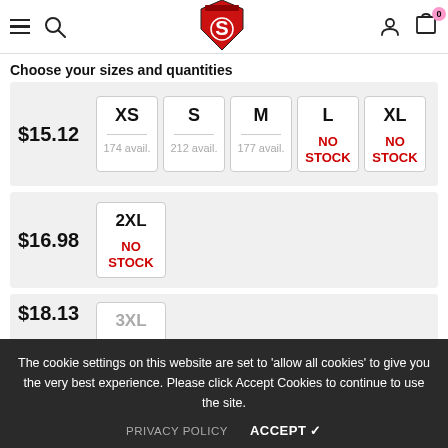[Figure (logo): Red shield logo with S letter in white]
Choose your sizes and quantities
| Price | XS | S | M | L | XL |
| --- | --- | --- | --- | --- | --- |
| $15.12 | 174 avail. | 212 avail. | 177 avail. | NO STOCK | NO STOCK |
| Price | 2XL |
| --- | --- |
| $16.98 | NO STOCK |
$18.13
3XL
The cookie settings on this website are set to 'allow all cookies' to give you the very best experience. Please click Accept Cookies to continue to use the site.
PRIVACY POLICY
ACCEPT ✓